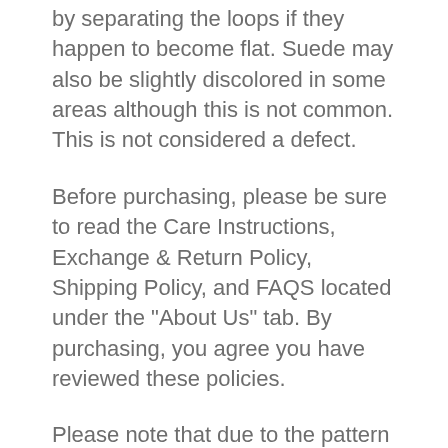by separating the loops if they happen to become flat. Suede may also be slightly discolored in some areas although this is not common. This is not considered a defect.
Before purchasing, please be sure to read the Care Instructions, Exchange & Return Policy, Shipping Policy, and FAQS located under the "About Us" tab. By purchasing, you agree you have reviewed these policies.
Please note that due to the pattern of leathers, not all earring pairs will look exactly like the pictures, but all earrings are cut from the same hide of leather. Slight variations may occur. Pictures are taken to represent as close to the true colors as possible, however, slight variations in color may occur due to different computer and mobile phone screens.